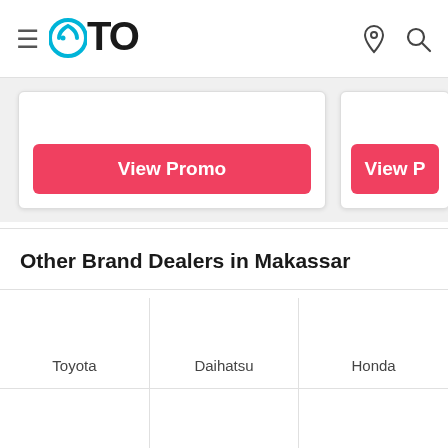OTO
[Figure (screenshot): View Promo buttons — two partially visible card panels with red 'View Promo' buttons]
Other Brand Dealers in Makassar
| Toyota | Daihatsu | Honda |
| Suzuki | Hyundai | Wuling |